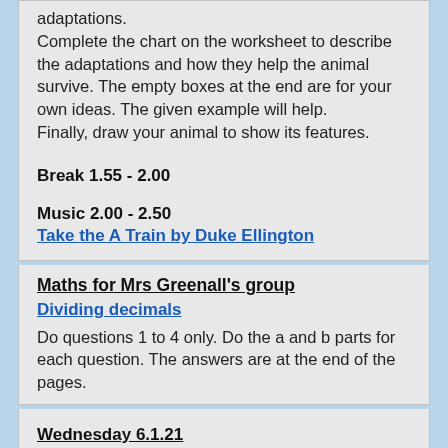adaptations.
Complete the chart on the worksheet to describe the adaptations and how they help the animal survive. The empty boxes at the end are for your own ideas. The given example will help.
Finally, draw your animal to show its features.
Break 1.55 - 2.00
Music 2.00 - 2.50
Take the A Train by Duke Ellington
Maths for Mrs Greenall's group
Dividing decimals
Do questions 1 to 4 only. Do the a and b parts for each question. The answers are at the end of the pages.
Wednesday 6.1.21